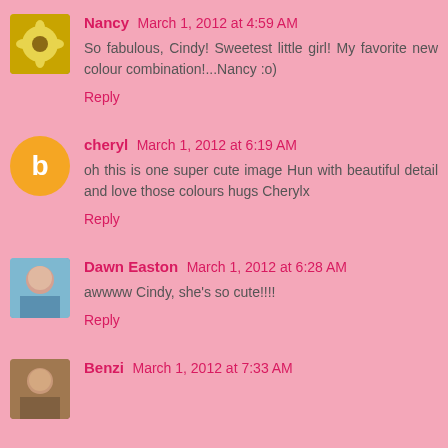Nancy March 1, 2012 at 4:59 AM
So fabulous, Cindy! Sweetest little girl! My favorite new colour combination!...Nancy :o)
Reply
cheryl March 1, 2012 at 6:19 AM
oh this is one super cute image Hun with beautiful detail and love those colours hugs Cherylx
Reply
Dawn Easton March 1, 2012 at 6:28 AM
awwww Cindy, she's so cute!!!!
Reply
Benzi March 1, 2012 at 7:33 AM